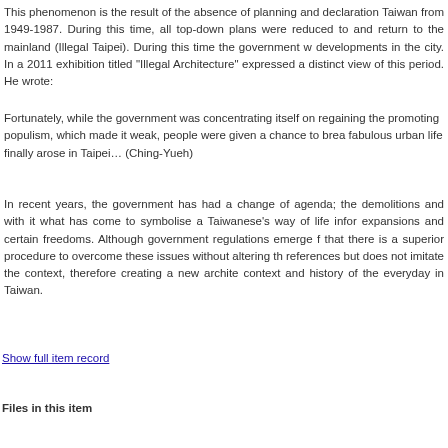This phenomenon is the result of the absence of planning and declaration Taiwan from 1949-1987. During this time, all top-down plans were reduced to and return to the mainland (Illegal Taipei). During this time the government w developments in the city. In a 2011 exhibition titled "Illegal Architecture" expressed a distinct view of this period. He wrote:
Fortunately, while the government was concentrating itself on regaining the promoting populism, which made it weak, people were given a chance to brea fabulous urban life finally arose in Taipei… (Ching-Yueh)
In recent years, the government has had a change of agenda; the demolitions and with it what has come to symbolise a Taiwanese's way of life infor expansions and certain freedoms. Although government regulations emerge f that there is a superior procedure to overcome these issues without altering th references but does not imitate the context, therefore creating a new archite context and history of the everyday in Taiwan.
Show full item record
Files in this item